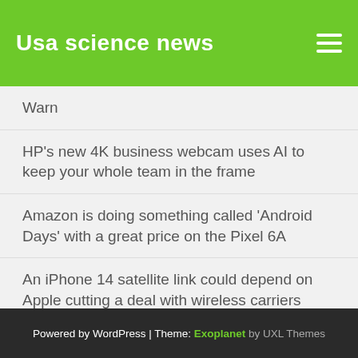Usa science news
Warn
HP’s new 4K business webcam uses AI to keep your whole team in the frame
Amazon is doing something called ‘Android Days’ with a great price on the Pixel 6A
An iPhone 14 satellite link could depend on Apple cutting a deal with wireless carriers
Powered by WordPress | Theme: Exoplanet by UXL Themes